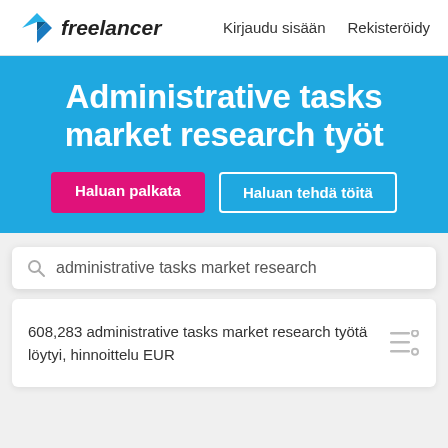Freelancer — Kirjaudu sisään  Rekisteröidy
Administrative tasks market research työt
Haluan palkata
Haluan tehdä töitä
administrative tasks market research
608,283 administrative tasks market research työtä löytyi, hinnoittelu EUR